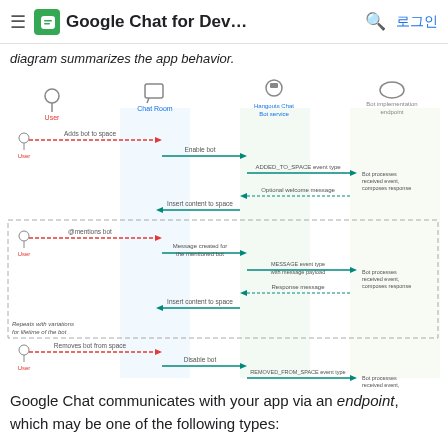Google Chat for Dev... 로그인
diagram summarizes the app behavior.
[Figure (flowchart): Sequence diagram showing Google Chat app behavior with three actors: User, Chat Room, Hangouts Chat Bot service, and Bot implementation endpoint. Shows three scenarios: 1) User adds bot to space - Enable bot, ADDED_TO_SPACE event type, Optional welcome message, Insert content to space. 2) User @mentions bot (repeats with variations for lifetime of the bot) - Message created for the mentioned bot, MESSAGE event type with message payload, Response message, Insert content to space. 3) User removes bot from space - Disable bot, REMOVED_FROM_SPACE event type, Bot processes received event, no response applicable.]
Google Chat communicates with your app via an endpoint, which may be one of the following types: